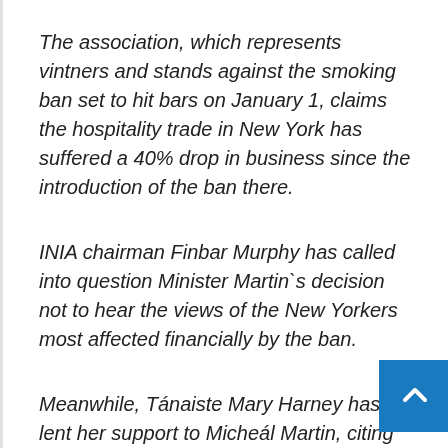The association, which represents vintners and stands against the smoking ban set to hit bars on January 1, claims the hospitality trade in New York has suffered a 40% drop in business since the introduction of the ban there.
INIA chairman Finbar Murphy has called into question Minister Martin`s decision not to hear the views of the New Yorkers most affected financially by the ban.
Meanwhile, Tánaiste Mary Harney has lent her support to Micheál Martin, citing as an example own unpopularity on foot of the coal ban in the Republic but saying that the government intends to